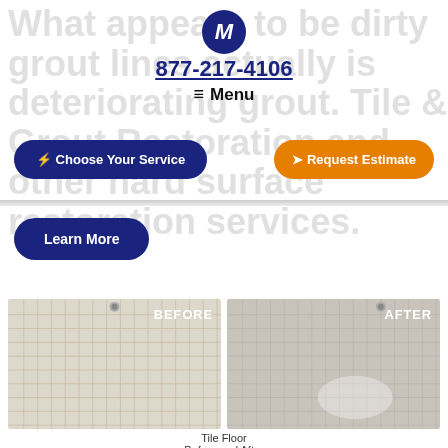[Figure (screenshot): Faded background text visible behind nav: 'What appears to be dirty grout lines actually is deteriorating grout. Tile & Grout Restoration and other hard surface restoration services.']
[Figure (logo): M logo in dark blue circle]
877-217-4106
≡ Menu
⚡ Choose Your Service
➤ Request Estimate
Learn More
[Figure (photo): Before and after comparison photos of a tile floor. Left panel labeled BEFORE shows yellowed/stained grout lines on small white tiles. Right panel labeled AFTER shows clean bright white tiles and grout.]
Tile Floor
Before and After